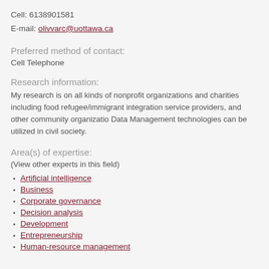Cell: 6138901581
E-mail: olivvarc@uottawa.ca
Preferred method of contact:
Cell Telephone
Research information:
My research is on all kinds of nonprofit organizations and charities including food refugee/immigrant integration service providers, and other community organizatio Data Management technologies can be utilized in civil society.
Area(s) of expertise:
(View other experts in this field)
Artificial intelligence
Business
Corporate governance
Decision analysis
Development
Entrepreneurship
Human-resource management